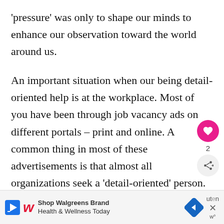'pressure' was only to shape our minds to enhance our observation toward the world around us.

An important situation when our being detail-oriented help is at the workplace. Most of you have been through job vacancy ads on different portals – print and online. A common thing in most of these advertisements is that almost all organizations seek a 'detail-oriented' person. A recent study showed that over 62 pe...utern...
[Figure (other): UI overlay with a pink heart button showing count 2, and a share button below it]
[Figure (other): Advertisement banner for Walgreens Brand Health & Wellness Today with logo, arrow icon, and close button]